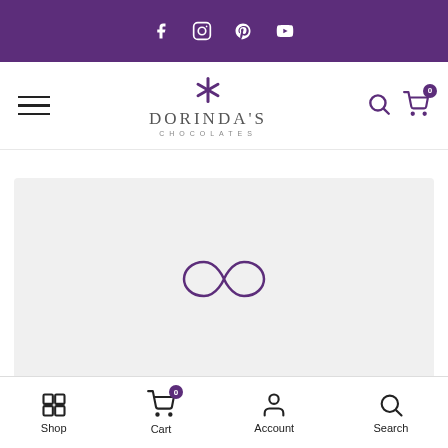[Figure (screenshot): Purple social media top bar with Facebook, Instagram, Pinterest, and YouTube icons in white]
[Figure (logo): Dorinda's Chocolates logo with purple asterisk/star above the brand name]
[Figure (screenshot): Gray content area with a purple infinity/loading symbol in the center]
Shop  Cart  Account  Search